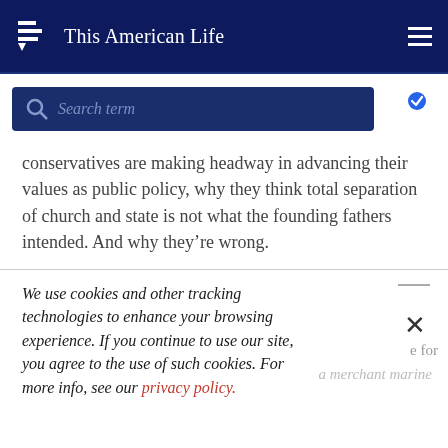This American Life
Search term
conservatives are making headway in advancing their values as public policy, why they think total separation of church and state is not what the founding fathers intended. And why they're wrong.
We use cookies and other tracking technologies to enhance your browsing experience. If you continue to use our site, you agree to the use of such cookies. For more info, see our privacy policy.